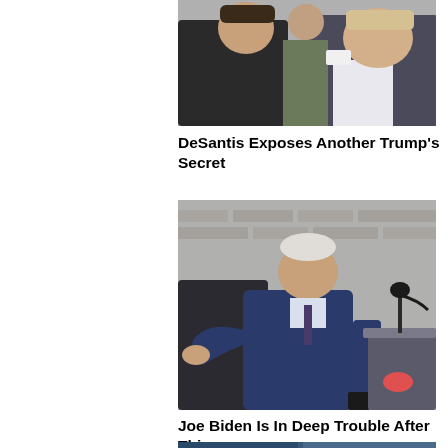[Figure (photo): Two men in close conversation outdoors — one in a dark jacket, another in a suit; appears to be DeSantis and Trump]
DeSantis Exposes Another Trump's Secret
[Figure (photo): Joe Biden in a navy suit gesturing with his hand near a podium with a microphone, speaking outdoors]
Joe Biden Is In Deep Trouble After This
[Figure (photo): Partial view of a third article photo (cropped at bottom of page)]